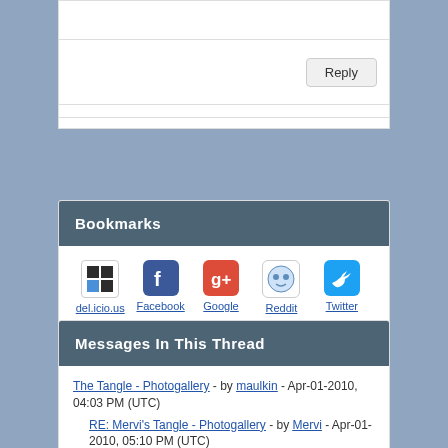[Reply area top blank]
Reply button
Bookmarks
[Figure (infographic): Social bookmark icons row 1: del.icio.us, Facebook, Google, Reddit, Twitter]
[Figure (infographic): Social bookmark icons row 2: Blogger, Tumblr, Pinterest]
Messages In This Thread
The Tangle - Photogallery - by maulkin - Apr-01-2010, 04:03 PM (UTC)
RE: Mervi's Tangle - Photogallery - by Mervi - Apr-01-2010, 05:10 PM (UTC)